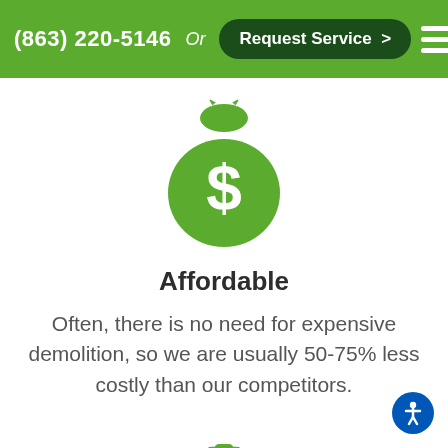(863) 220-5146  Or  Request Service >
[Figure (illustration): Green money bag icon with a dollar sign in the center]
Affordable
Often, there is no need for expensive demolition, so we are usually 50-75% less costly than our competitors.
[Figure (illustration): Green stopwatch/timer icon, partially visible at bottom of page]